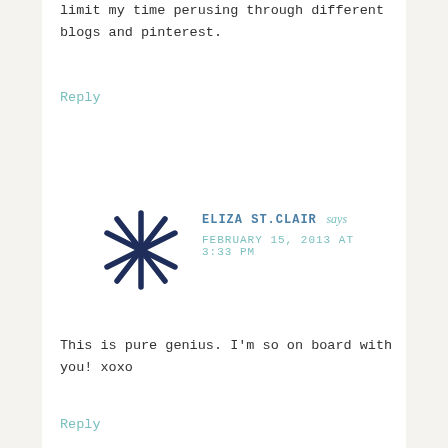limit my time perusing through different blogs and pinterest.
Reply
[Figure (illustration): Dark navy blue star/asterisk hand-drawn icon used as avatar for commenter Eliza St.Clair]
ELIZA ST.CLAIR says FEBRUARY 15, 2013 AT 3:33 PM
This is pure genius. I'm so on board with you! xoxo
Reply